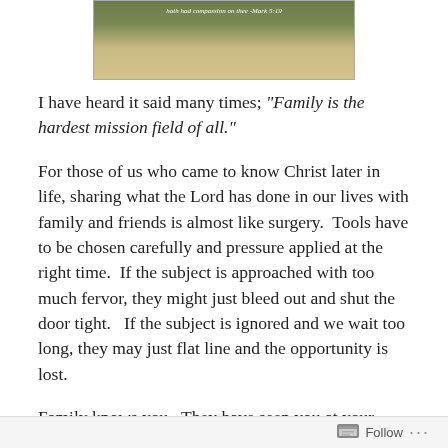[Figure (photo): Top portion of a book cover with a dark green/tan background and italic text reading 'hath had compassion on thee -Mark 5:19']
I have heard it said many times; “Family is the hardest mission field of all.”
For those of us who came to know Christ later in life, sharing what the Lord has done in our lives with family and friends is almost like surgery.  Tools have to be chosen carefully and pressure applied at the right time.  If the subject is approached with too much fervor, they might just bleed out and shut the door tight.   If the subject is ignored and we wait too long, they may just flat line and the opportunity is lost.
Family knows you.  They have seen you at your worst and
Follow